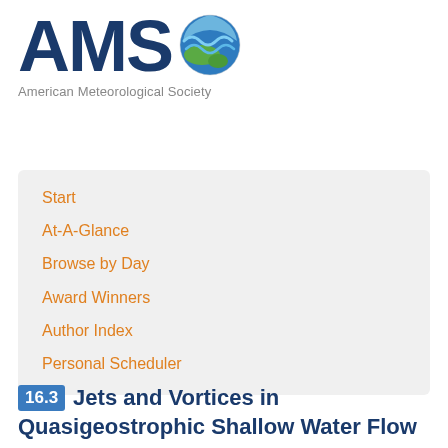[Figure (logo): AMS American Meteorological Society logo with globe icon showing water and land]
American Meteorological Society
Start
At-A-Glance
Browse by Day
Award Winners
Author Index
Personal Scheduler
16.3 Jets and Vortices in Quasigeostrophic Shallow Water Flow